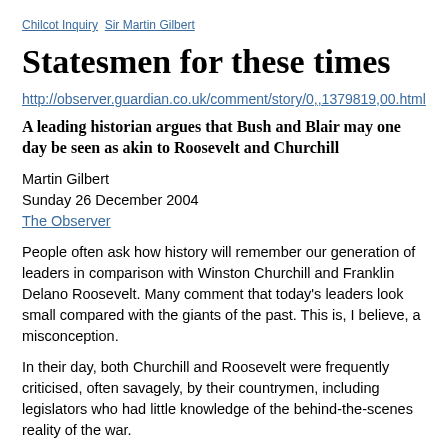Chilcot Inquiry  Sir Martin Gilbert
Statesmen for these times
http://observer.guardian.co.uk/comment/story/0,,1379819,00.html
A leading historian argues that Bush and Blair may one day be seen as akin to Roosevelt and Churchill
Martin Gilbert
Sunday 26 December 2004
The Observer
People often ask how history will remember our generation of leaders in comparison with Winston Churchill and Franklin Delano Roosevelt. Many comment that today's leaders look small compared with the giants of the past. This is, I believe, a misconception.
In their day, both Churchill and Roosevelt were frequently criticised, often savagely, by their countrymen, including legislators who had little knowledge of the behind-the-scenes reality of the war.